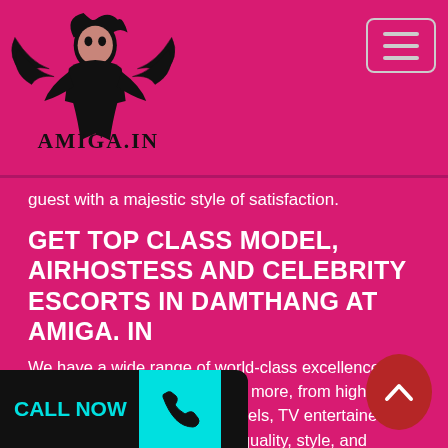[Figure (logo): Amiga.in logo with illustrated female figure with wings, black line art on pink background, text AMIGA.IN below]
guest with a majestic style of satisfaction.
GET TOP CLASS MODEL, AIRHOSTESS AND CELEBRITY ESCORTS IN DAMTHANG AT AMIGA. IN
We have a wide range of world-class excellence, such as students, models and more, from high profile female air hostesses, top models, TV entertainers and Bollywood wonders with quality, style, and behaviour of choice, delicacy, accomplished nonsense and an amazing body.
The damthang girl you meet will always be in fas... However, if you have dress requirements for your... escorts love to dress however ... when they have to figure out